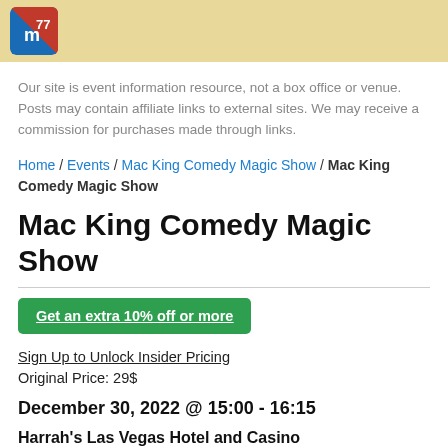[Figure (logo): Website logo icon with red and blue diagonal split design with white 'm' text]
Our site is event information resource, not a box office or venue. Posts may contain affiliate links to external sites. We may receive a commission for purchases made through links.
Home / Events / Mac King Comedy Magic Show / Mac King Comedy Magic Show
Mac King Comedy Magic Show
Get an extra 10% off or more
Sign Up to Unlock Insider Pricing
Original Price: 29$
December 30, 2022 @ 15:00 - 16:15
Harrah's Las Vegas Hotel and Casino
3475 S Las Vegas Blvd, Las Vegas, NV, 89109, United